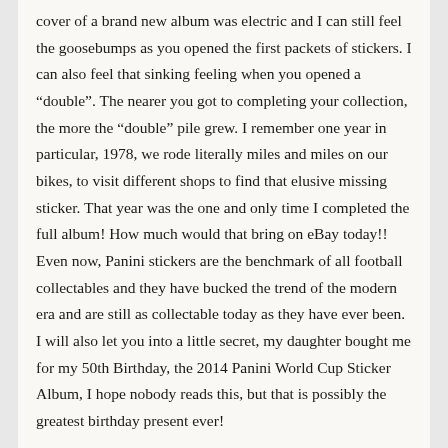cover of a brand new album was electric and I can still feel the goosebumps as you opened the first packets of stickers. I can also feel that sinking feeling when you opened a “double”. The nearer you got to completing your collection, the more the “double” pile grew. I remember one year in particular, 1978, we rode literally miles and miles on our bikes, to visit different shops to find that elusive missing sticker. That year was the one and only time I completed the full album! How much would that bring on eBay today!! Even now, Panini stickers are the benchmark of all football collectables and they have bucked the trend of the modern era and are still as collectable today as they have ever been. I will also let you into a little secret, my daughter bought me for my 50th Birthday, the 2014 Panini World Cup Sticker Album, I hope nobody reads this, but that is possibly the greatest birthday present ever!